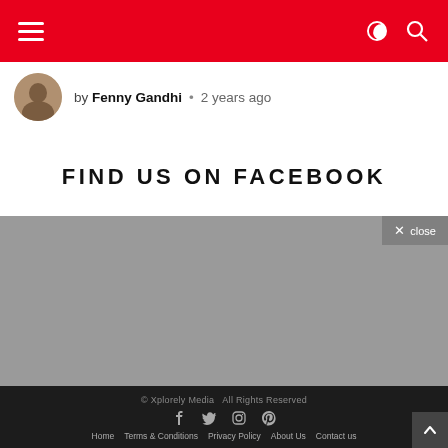Navigation bar with hamburger menu and search/dark-mode icons
by Fenny Gandhi • 2 years ago
FIND US ON FACEBOOK
[Figure (other): Gray placeholder rectangle representing a Facebook embed widget]
© Xplorely Media  All Rights Reserved
Home  Terms & Conditions  Privacy Policy  About Us  Contact us